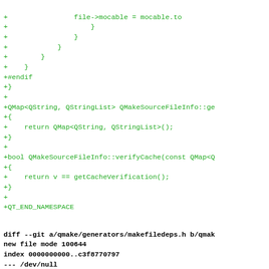+ file->mocable = mocable.to
+                }
+            }
+        }
+    }
+  }
+#endif
+}
+
+QMap<QString, QStringList> QMakeSourceFileInfo::ge
+{
+    return QMap<QString, QStringList>();
+}
+
+bool QMakeSourceFileInfo::verifyCache(const QMap<Q
+{
+    return v == getCacheVerification();
+}
+
+QT_END_NAMESPACE
diff --git a/qmake/generators/makefiledeps.h b/qmak
new file mode 100644
index 0000000000..c3f8770797
--- /dev/null
+++ b/qmake/generators/makefiledeps.h
@@ -0,0 +1,132 @@
+/***************************************************
+**
+** Copyright (C) 2011 Nokia Corporation and/or its
+** All rights reserved.